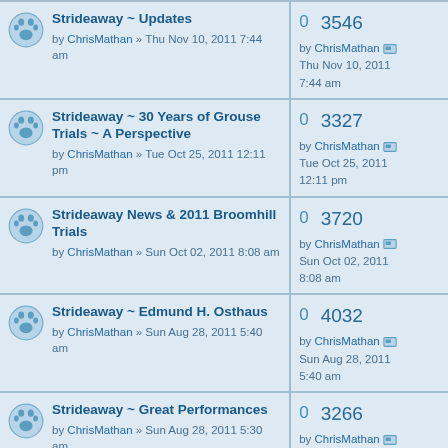Strideaway ~ Updates by ChrisMathan » Thu Nov 10, 2011 7:44 am | 0 replies, 3546 views, by ChrisMathan Thu Nov 10, 2011 7:44 am
Strideaway ~ 30 Years of Grouse Trials ~ A Perspective by ChrisMathan » Tue Oct 25, 2011 12:11 pm | 0 replies, 3327 views, by ChrisMathan Tue Oct 25, 2011 12:11 pm
Strideaway News & 2011 Broomhill Trials by ChrisMathan » Sun Oct 02, 2011 8:08 am | 0 replies, 3720 views, by ChrisMathan Sun Oct 02, 2011 8:08 am
Strideaway ~ Edmund H. Osthaus by ChrisMathan » Sun Aug 28, 2011 5:40 am | 0 replies, 4032 views, by ChrisMathan Sun Aug 28, 2011 5:40 am
Strideaway ~ Great Performances by ChrisMathan » Sun Aug 28, 2011 5:30 am | 0 replies, 3266 views, by ChrisMathan Sun Aug 28, 2011 5:30 am
Strideaway ~ Payback Time by ChrisMathan » Thu Jul 28, 2011 2:08 | 0 replies, 3645 views